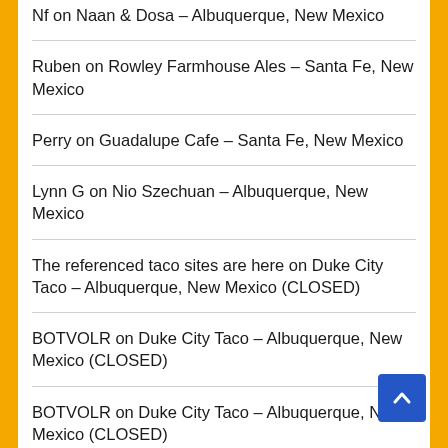Nf on Naan & Dosa – Albuquerque, New Mexico
Ruben on Rowley Farmhouse Ales – Santa Fe, New Mexico
Perry on Guadalupe Cafe – Santa Fe, New Mexico
Lynn G on Nio Szechuan – Albuquerque, New Mexico
The referenced taco sites are here on Duke City Taco – Albuquerque, New Mexico (CLOSED)
BOTVOLR on Duke City Taco – Albuquerque, New Mexico (CLOSED)
BOTVOLR on Duke City Taco – Albuquerque, New Mexico (CLOSED)